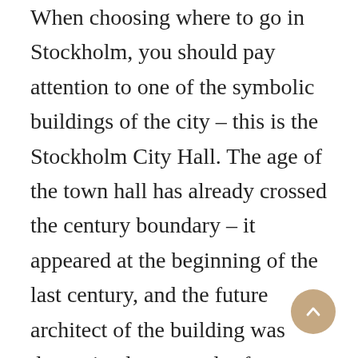When choosing where to go in Stockholm, you should pay attention to one of the symbolic buildings of the city – this is the Stockholm City Hall. The age of the town hall has already crossed the century boundary – it appeared at the beginning of the last century, and the future architect of the building was determined as a result of a competition for the best project. Construction lasted more than 10 years, the construction of a large-scale architectural project took several million red bricks. From the moment of opening to the present day the town hall has been a venue for ceremonial receptions, official meetings,